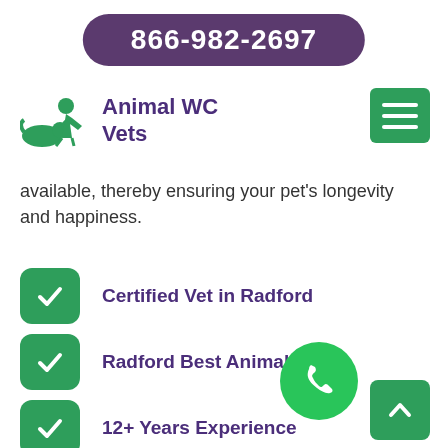866-982-2697
Animal WC Vets
available, thereby ensuring your pet's longevity and happiness.
Certified Vet in Radford
Radford Best Animal Hospital
12+ Years Experience
Radford Emergency Vet Care